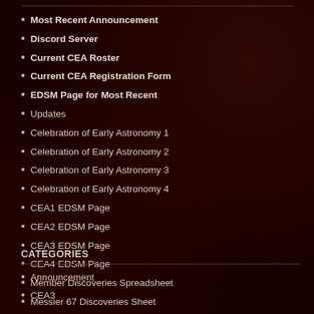Most Recent Announcement
Discord Server
Current CEA Roster
Current CEA Registration Form
EDSM Page for Most Recent
Updates
Celebration of Early Astronomy 1
Celebration of Early Astronomy 2
Celebration of Early Astronomy 3
Celebration of Early Astronomy 4
CEA1 EDSM Page
CEA2 EDSM Page
CEA3 EDSM Page
CEA4 EDSM Page
Member Discoveries Spreadsheet
Messier 67 Discoveries Sheet
CATEGORIES
Announcement
CEA3